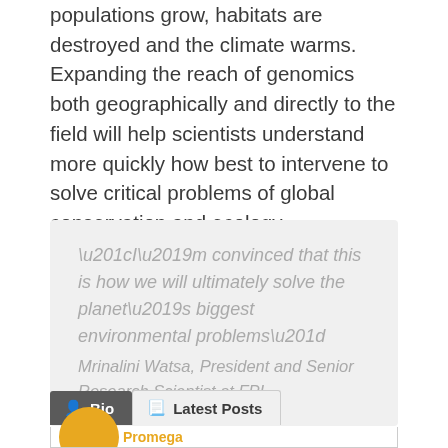populations grow, habitats are destroyed and the climate warms. Expanding the reach of genomics both geographically and directly to the field will help scientists understand more quickly how best to intervene to solve critical problems of global conservation and ecology.
“I’m convinced that this is how we will ultimately solve the planet’s biggest environmental problems” Mrinalini Watsa, President and Senior Research Scientist at FPI.
Bio | Latest Posts
[Figure (other): Author avatar partial circle in orange/amber color at bottom of page]